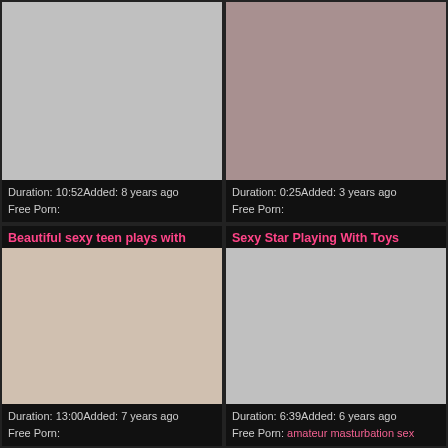[Figure (photo): Video thumbnail - light gray placeholder, top-left cell]
Duration: 10:52Added: 8 years ago
Free Porn:
[Figure (photo): Video thumbnail - adult content photo, top-right cell]
Duration: 0:25Added: 3 years ago
Free Porn:
Beautiful sexy teen plays with
[Figure (photo): Video thumbnail - woman lying down, bottom-left cell]
Duration: 13:00Added: 7 years ago
Free Porn:
Sexy Star Playing With Toys
[Figure (photo): Video thumbnail - gray placeholder, bottom-right cell]
Duration: 6:39Added: 6 years ago
Free Porn: amateur masturbation sex